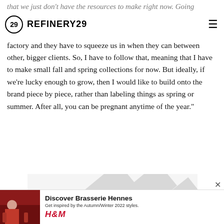that we just don't have the resources to make right now. Going
REFINERY29
factory and they have to squeeze us in when they can between other, bigger clients. So, I have to follow that, meaning that I have to make small fall and spring collections for now. But ideally, if we're lucky enough to grow, then I would like to build onto the brand piece by piece, rather than labeling things as spring or summer. After all, you can be pregnant anytime of the year."
[Figure (logo): Refinery29 watermark/logo placeholder image]
[Figure (photo): H&M Brasserie Hennes advertisement banner with woman in red dress]